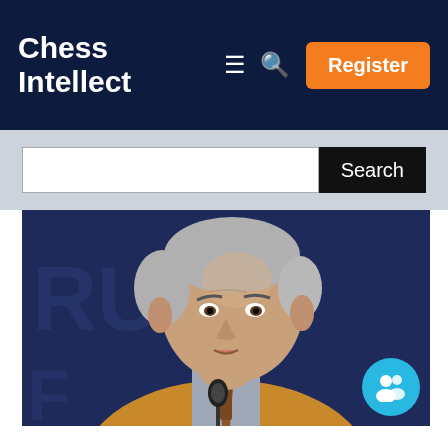Chess Intellect
Search
[Figure (photo): Man in tan/beige blazer speaking at a forum event, with a microphone in front, seated at a panel. Background shows partial text 'FORUM'. A teal user-group icon is overlaid in the bottom-right corner.]